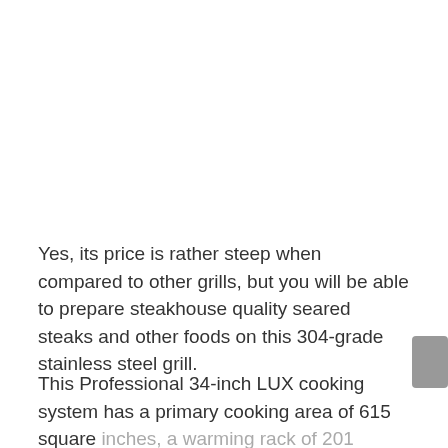Yes, its price is rather steep when compared to other grills, but you will be able to prepare steakhouse quality seared steaks and other foods on this 304-grade stainless steel grill.
This Professional 34-inch LUX cooking system has a primary cooking area of 615 square inches, a warming rack of 201 square inches, and three 304 stainless steel burners with a combined output of 54,000 BTUs. The...